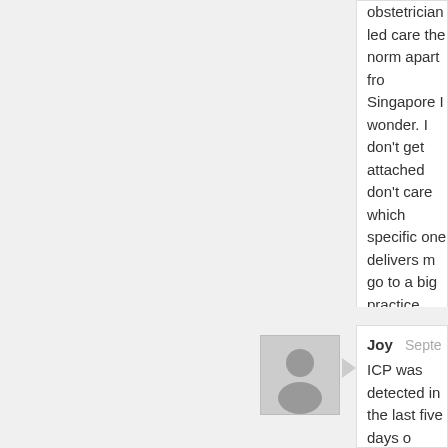obstetrician led care the norm apart from Singapore I wonder. I don't get attached don't care which specific one delivers m go to a big practice here where it is mor wont be on call when you deliver. maybe then, stick to what I know
[Figure (illustration): Generic user avatar placeholder image (grey silhouette on light grey background)]
Joy
Septe
ICP was detected in the last five days o didn't get an OB. I had to have continuo when the hr started to pick up the OB ca they'd like to get the baby out. The midw to stay on pushing, but I had already be hours and figured I'd rather have the for an emergency.
I wish I had the option to see the same never saw the same midwife twice. It wa the continuity and the ICP might have b Although, maybe not as I didn't get the i week.